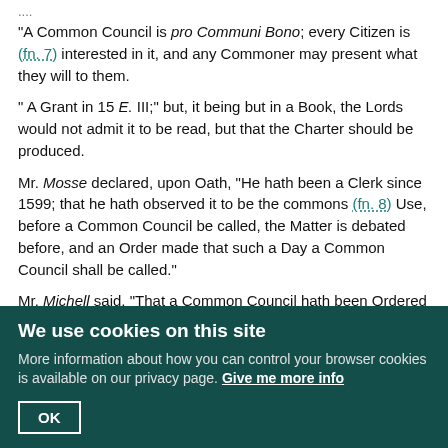....
"A Common Council is pro Communi Bono; every Citizen is (fn. 7) interested in it, and any Commoner may present what they will to them.
" A Grant in 15 E. III;" but, it being but in a Book, the Lords would not admit it to be read, but that the Charter should be produced.
Mr. Mosse declared, upon Oath, "He hath been a Clerk since 1599; that he hath observed it to be the commons (fn. 8) Use, before a Common Council be called, the Matter is debated before, and an Order made that such a Day a Common Council shall be called."
Mr. Michell said, "That a Common Council hath been Ordered by the Court of Aldermen, till of late, within a Year or Two, by Order of this House."
Mr. Herne said, "The Lord Mayor heard not of the Resolution of the Houses until the 6th of July; and concluded with a Desire, That, if any Thing be new, they desire to be heard again; if not, he referred the Business to their Lordships Consideration."
H. C. to reply To-morrow.
We use cookies on this site
More information about how you can control your browser cookies is available on our privacy page. Give me more info
OK